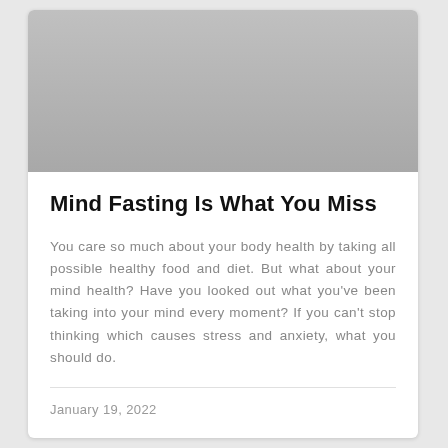[Figure (photo): Gray placeholder image at top of card]
Mind Fasting Is What You Miss
You care so much about your body health by taking all possible healthy food and diet. But what about your mind health? Have you looked out what you've been taking into your mind every moment? If you can't stop thinking which causes stress and anxiety, what you should do.
January 19, 2022